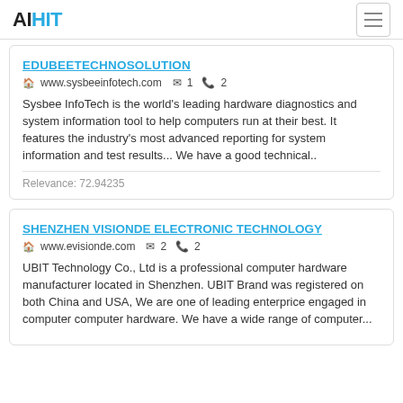AIHIT
EDUBEETECHNOSOLUTION
🏠 www.sysbeeinfotech.com ✉ 1 📞 2
Sysbee InfoTech is the world's leading hardware diagnostics and system information tool to help computers run at their best. It features the industry's most advanced reporting for system information and test results... We have a good technical..
Relevance: 72.94235
SHENZHEN VISIONDE ELECTRONIC TECHNOLOGY
🏠 www.evisionde.com ✉ 2 📞 2
UBIT Technology Co., Ltd is a professional computer hardware manufacturer located in Shenzhen. UBIT Brand was registered on both China and USA, We are one of leading enterprice engaged in computer computer hardware. We have a wide range of computer...